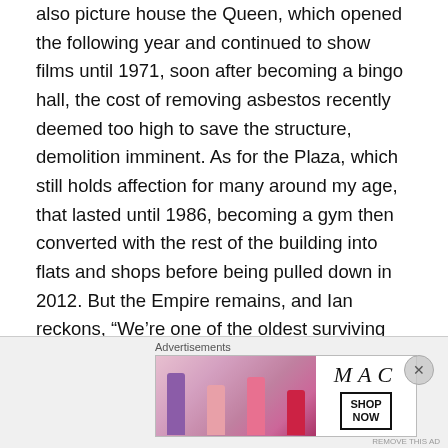also picture house the Queen, which opened the following year and continued to show films until 1971, soon after becoming a bingo hall, the cost of removing asbestos recently deemed too high to save the structure, demolition imminent. As for the Plaza, which still holds affection for many around my age, that lasted until 1986, becoming a gym then converted with the rest of the building into flats and shops before being pulled down in 2012. But the Empire remains, and Ian reckons, “We’re one of the oldest surviving purpose-built cinemas in the UK … if not the world.”

Nothing’s taken for granted though, and in recent months venues across the country have had to prove their worth
[Figure (other): MAC Cosmetics advertisement banner showing colorful lipsticks with MAC logo and SHOP NOW button]